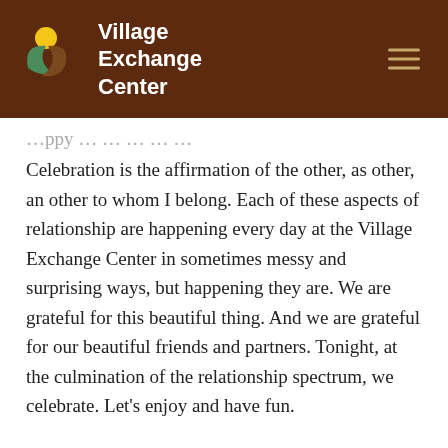Village Exchange Center
Celebration is the affirmation of the other, as other, an other to whom I belong. Each of these aspects of relationship are happening every day at the Village Exchange Center in sometimes messy and surprising ways, but happening they are. We are grateful for this beautiful thing. And we are grateful for our beautiful friends and partners. Tonight, at the culmination of the relationship spectrum, we celebrate. Let’s enjoy and have fun.
Rev. Marcel Narucki